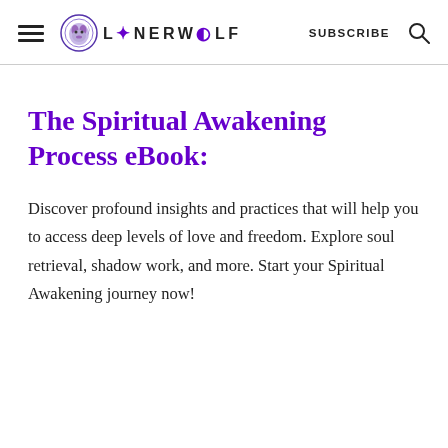LONERWOLF  SUBSCRIBE
The Spiritual Awakening Process eBook:
Discover profound insights and practices that will help you to access deep levels of love and freedom. Explore soul retrieval, shadow work, and more. Start your Spiritual Awakening journey now!